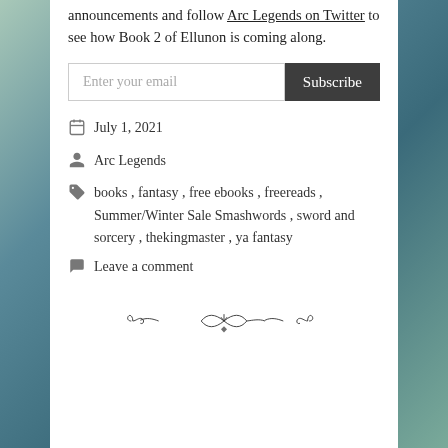announcements and follow Arc Legends on Twitter to see how Book 2 of Ellunon is coming along.
[Figure (other): Email subscription form with input field 'Enter your email' and dark 'Subscribe' button]
July 1, 2021
Arc Legends
books , fantasy , free ebooks , freereads , Summer/Winter Sale Smashwords , sword and sorcery , thekingmaster , ya fantasy
Leave a comment
[Figure (illustration): Decorative ornamental divider with scroll and floral design]